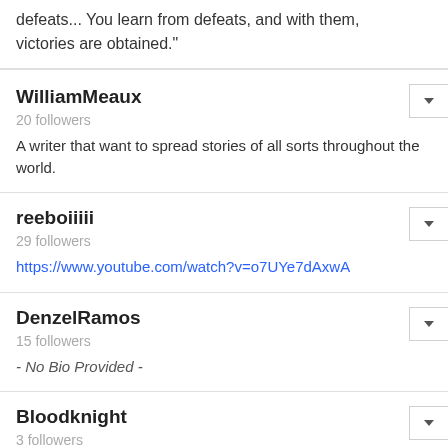defeats... You learn from defeats, and with them, victories are obtained."
WilliamMeaux
20 followers
A writer that want to spread stories of all sorts throughout the world.
reeboiiiii
29 followers
https://www.youtube.com/watch?v=o7UYe7dAxwA
DenzelRamos
15 followers
- No Bio Provided -
Bloodknight
3 followers
- No Bio Provided -